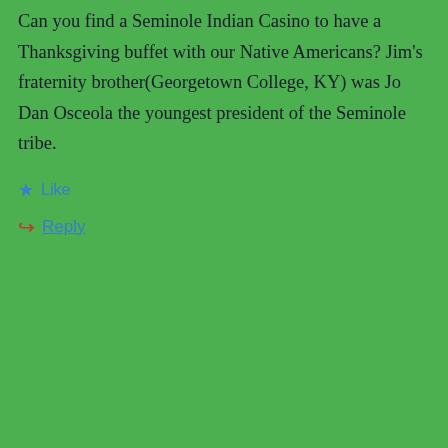Can you find a Seminole Indian Casino to have a Thanksgiving buffet with our Native Americans? Jim's fraternity brother(Georgetown College, KY) was Jo Dan Osceola the youngest president of the Seminole tribe.
Like
Reply
H T
November 28, 2019 at 1:23 pm
Great to hear Gulf crossing went well ! ! Another Great Loop accomplishment !